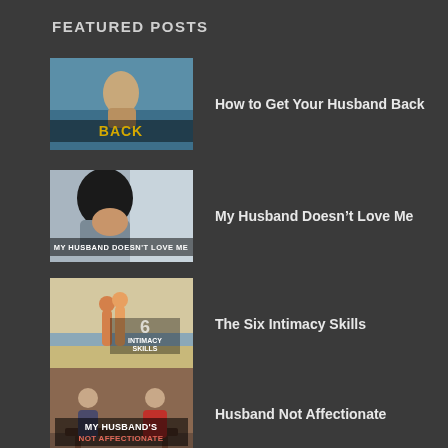FEATURED POSTS
[Figure (photo): Couple embracing at beach with text overlay 'BACK']
How to Get Your Husband Back
[Figure (photo): Woman looking sad with text overlay 'MY HUSBAND DOESN'T LOVE ME']
My Husband Doesn’t Love Me
[Figure (photo): Couple standing at shoreline with text overlay '6 INTIMACY SKILLS']
The Six Intimacy Skills
[Figure (photo): Couple sitting on bench with text overlay 'MY HUSBAND’S NOT AFFECTIONATE']
Husband Not Affectionate